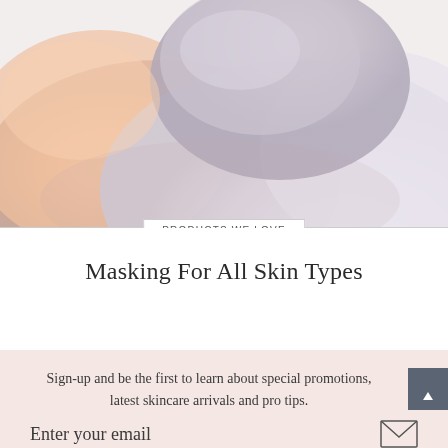[Figure (photo): A person lying down with a grey/clay facial mask applied, wearing a white towel wrap, shown from above at an angle. Soft, muted skin tones and spa-like aesthetic.]
PRODUCTS WE LOVE
Masking For All Skin Types
Sign-up and be the first to learn about special promotions, latest skincare arrivals and pro tips.
Enter your email